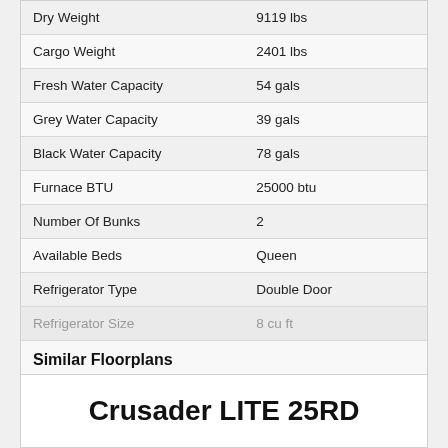| Spec | Value |
| --- | --- |
| Dry Weight | 9119 lbs |
| Cargo Weight | 2401 lbs |
| Fresh Water Capacity | 54 gals |
| Grey Water Capacity | 39 gals |
| Black Water Capacity | 78 gals |
| Furnace BTU | 25000 btu |
| Number Of Bunks | 2 |
| Available Beds | Queen |
| Refrigerator Type | Double Door |
| Refrigerator Size | 8 cu ft |
Similar Floorplans
Bunkhouse
Outdoor Kitchen
U Shaped Dinette
Crusader LITE 25RD